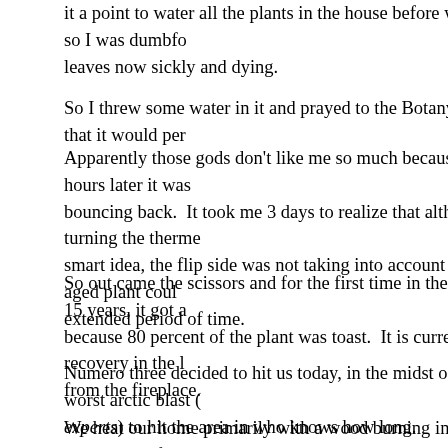it a point to water all the plants in the house before we left, so I was dumbfo leaves now sickly and dying.
So I threw some water in it and prayed to the Botany Gods that it would per
Apparently those gods don't like me so much because 24 hours later it was bouncing back. It took me 3 days to realize that although turning the therme smart idea, the flip side was not taking into account that the aged plant coul extended period of time.
So out came the scissors and for the first time in the plant's 15 years, it got a because 80 percent of the plant was toast. It is currently in recovery in the l from the fireplace.
Numero three decided to hit us today, in the midst of the worst arctic blast ( experts) to hit the area in who knows how long.
We heat our home primarily with a wood burning insert which has a fan to p that fan decided to take a crap, which means no warm air. Sure, we have a f trying to figure out the problem, but propane is expensive and I'm a cheapsl